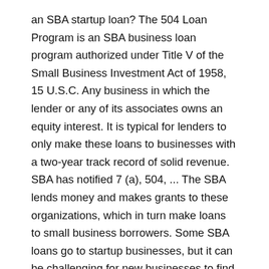an SBA startup loan? The 504 Loan Program is an SBA business loan program authorized under Title V of the Small Business Investment Act of 1958, 15 U.S.C. Any business in which the lender or any of its associates owns an equity interest. It is typical for lenders to only make these loans to businesses with a two-year track record of solid revenue. SBA has notified 7 (a), 504, ... The SBA lends money and makes grants to these organizations, which in turn make loans to small business borrowers. Some SBA loans go to startup businesses, but it can be challenging for new businesses to find the right loan and lender. If you want the security and reputation of an SBA loan, but value a shorter loan application process through online lenders. Another way is to get a, Depending on the loan you apply for, you may also need a demonstrated history of generating revenue. However, they may waive that requirement for businesses with a good credit and a solid business plan along with experience successfully